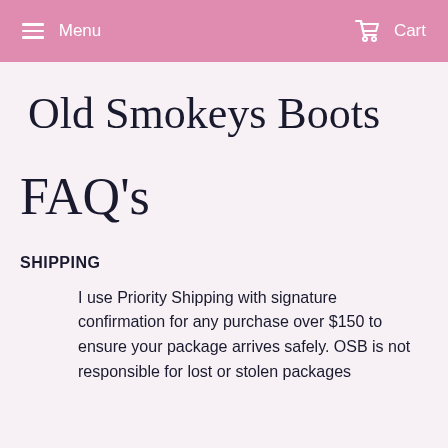Menu  Cart
Old Smokeys Boots
FAQ's
SHIPPING
I use Priority Shipping with signature confirmation for any purchase over $150 to ensure your package arrives safely. OSB is not responsible for lost or stolen packages